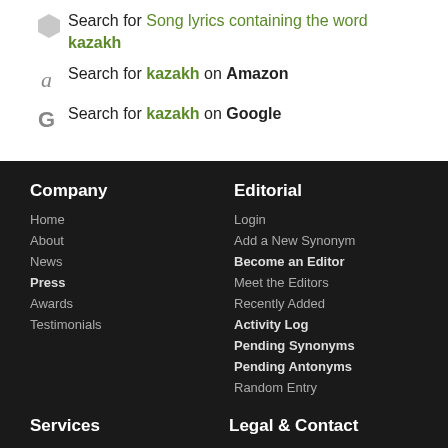Search for Song lyrics containing the word kazakh
Search for kazakh on Amazon
Search for kazakh on Google
Company
Home
About
News
Press
Awards
Testimonials
Editorial
Login
Add a New Synonym
Become an Editor
Meet the Editors
Recently Added
Activity Log
Pending Synonyms
Pending Antonyms
Random Entry
Services
Tools
My Vocabulary
Legal & Contact
Terms of Use
Privacy Policy